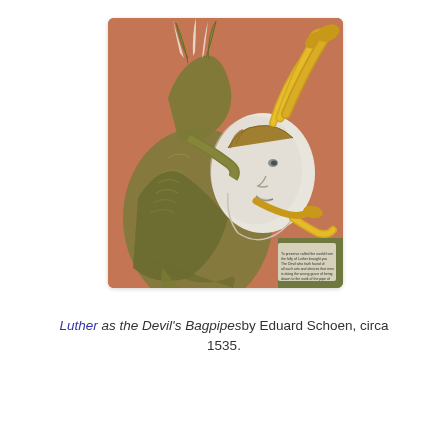[Figure (illustration): Historical illustration of Luther as the Devil's Bagpipes by Eduard Schoen, circa 1535. Shows a demonic creature with horns and claws holding a large human head (Luther) as a bagpipe instrument, with golden trumpet-like pipes extending upward, on an orange-red background. A small text cartouche appears in the lower right of the image.]
Luther as the Devil's Bagpipes by Eduard Schoen, circa 1535.